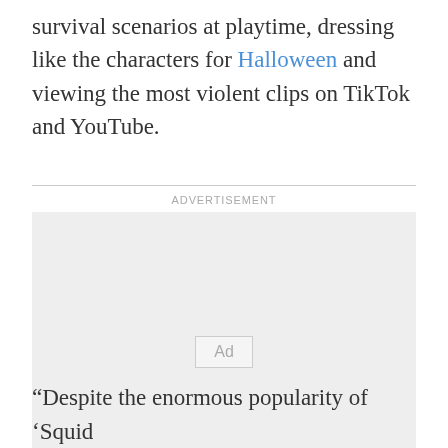survival scenarios at playtime, dressing like the characters for Halloween and viewing the most violent clips on TikTok and YouTube.
[Figure (other): Advertisement placeholder box with 'Ad' label in center, gray background, bordered]
“Despite the enormous popularity of ‘Squid